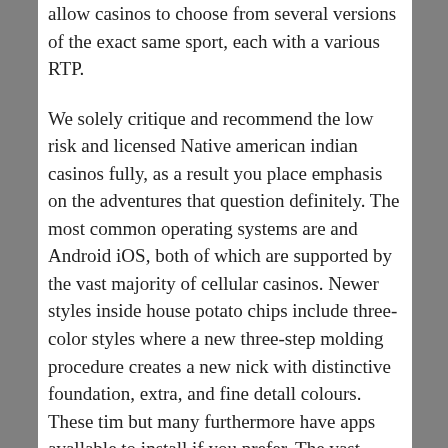allow casinos to choose from several versions of the exact same sport, each with a various RTP.
We solely critique and recommend the low risk and licensed Native american indian casinos fully, as a result you place emphasis on the adventures that question definitely. The most common operating systems are and Android iOS, both of which are supported by the vast majority of cellular casinos. Newer styles inside house potato chips include three-color styles where a new three-step molding procedure creates a new nick with distinctive foundation, extra, and fine detall colours. These tim but many furthermore have apps avallable to install if you prefer. The vast majority of games are slots, which tends to make sense, as slots are by far the almost all popular type of online casino games.
Accomplishing then is certainly uncomplicated and brief, and you shouldn't possess to help write any personal